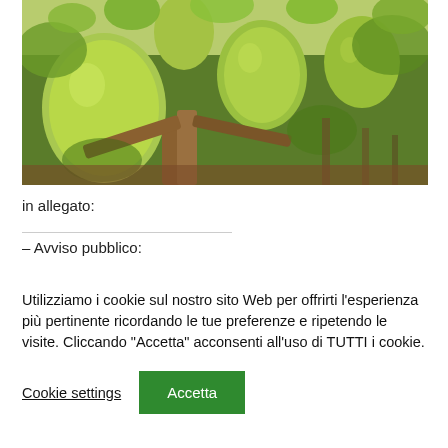[Figure (photo): Close-up photo of a citrus orchard with large green lemons/citrus fruits hanging from tree branches with green leaves; warm-toned bark and dappled background of more trees.]
in allegato:
– Avviso pubblico:
Utilizziamo i cookie sul nostro sito Web per offrirti l'esperienza più pertinente ricordando le tue preferenze e ripetendo le visite. Cliccando "Accetta" acconsenti all'uso di TUTTI i cookie.
Cookie settings
Accetta